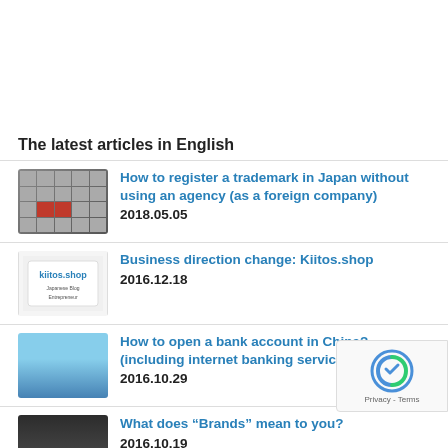The latest articles in English
How to register a trademark in Japan without using an agency (as a foreign company)
2018.05.05
Business direction change: Kiitos.shop
2016.12.18
How to open a bank account in China? (including internet banking service)
2016.10.29
What does “Brands” mean to you?
2016.10.19
The future of this blog
2016.08.12